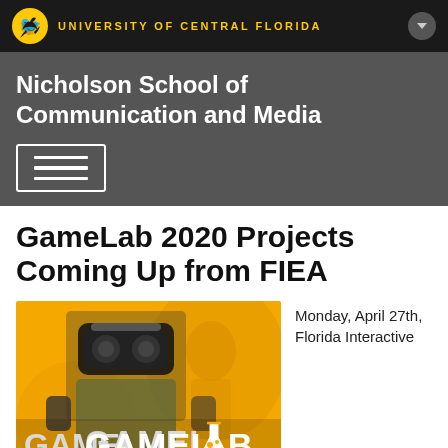UNIVERSITY OF CENTRAL FLORIDA
Nicholson School of Communication and Media
[Figure (screenshot): Hamburger menu button with three horizontal lines inside a rectangle border]
GameLab 2020 Projects Coming Up from FIEA
[Figure (photo): Person wearing a VR headset holding controllers, with GAMELAB text and logo overlay on a golden/orange background]
Monday, April 27th, Florida Interactive